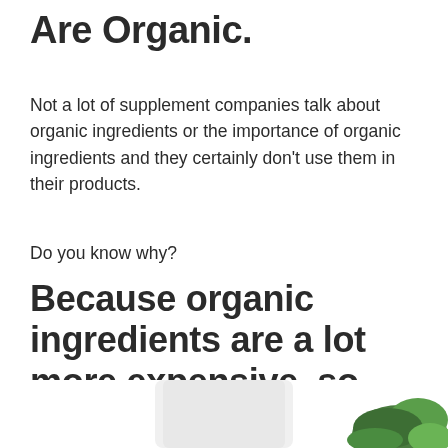Are Organic.
Not a lot of supplement companies talk about organic ingredients or the importance of organic ingredients and they certainly don't use them in their products.
Do you know why?
Because organic ingredients are a lot more expensive, so they don't include them.
[Figure (photo): Bottom portion of a white supplement container bottle with green herbs/leaves visible to the right, partially cropped at the bottom of the page.]